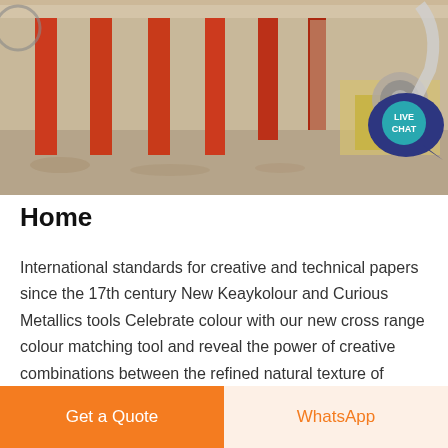[Figure (photo): Construction site photo showing red metal columns/pillars in a building under construction, with scaffolding and an industrial motor/blower unit on a yellow wooden stand in the right background.]
Home
International standards for creative and technical papers since the 17th century New Keaykolour and Curious Metallics tools Celebrate colour with our new cross range colour matching tool and reveal the power of creative combinations between the refined natural texture of Keaykolour and the ever so subtle shimmer of Curious Metallics
Get a Quote
WhatsApp